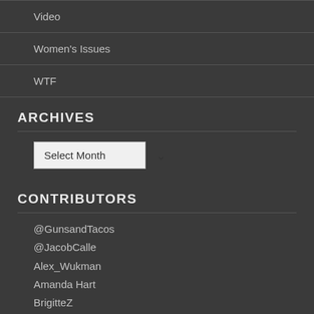Video
Women's Issues
WTF
ARCHIVES
[Figure (other): Select Month dropdown widget]
CONTRIBUTORS
@GunsandTacos
@JacobCalle
Alex_Wukman
Amanda Hart
BrigitteZ
dirtytea
Editor
Erin Dyer
FPHoustonSports
GuestAuthor
Jeck
KMAnderson